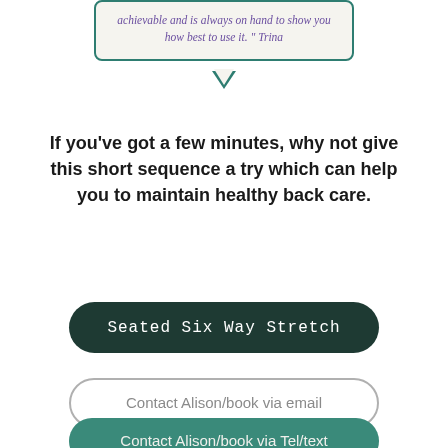achievable and is always on hand to show you how best to use it. " Trina
If you've got a few minutes, why not give this short sequence a try which can help you to maintain healthy back care.
Seated Six Way Stretch
Contact Alison/book via email
Contact Alison/book via Tel/text